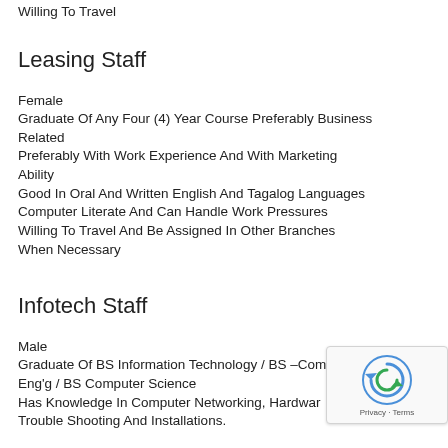Willing To Travel
Leasing Staff
Female
Graduate Of Any Four (4) Year Course Preferably Business Related
Preferably With Work Experience And With Marketing Ability
Good In Oral And Written English And Tagalog Languages
Computer Literate And Can Handle Work Pressures
Willing To Travel And Be Assigned In Other Branches When Necessary
Infotech Staff
Male
Graduate Of BS Information Technology / BS –Comp Eng'g / BS Computer Science
Has Knowledge In Computer Networking, Hardware Trouble Shooting And Installations.